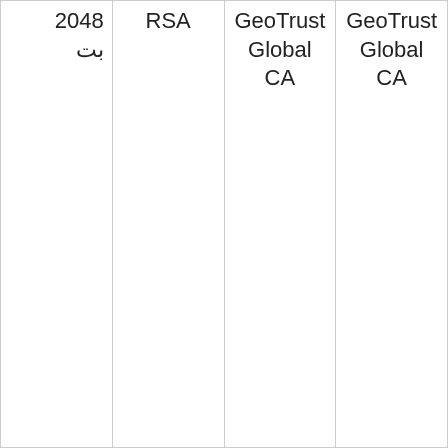| 2048
بت | RSA | GeoTrust Global
CA | GeoTrust Global
CA |